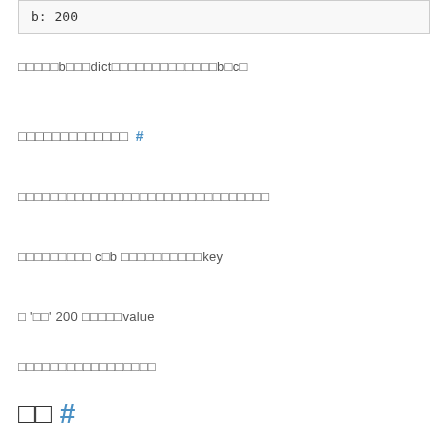b: 200
□□□□□b□□□dict□□□□□□□□□□□□□b□c□
□□□□□□□□□□□□□ #
□□□□□□□□□□□□□□□□□□□□□□□□□□□□□□□
□□□□□□□□□ c□b □□□□□□□□□□key
□ '□□' 200 □□□□□value
□□□□□□□□□□□□□□□□□
□□  #